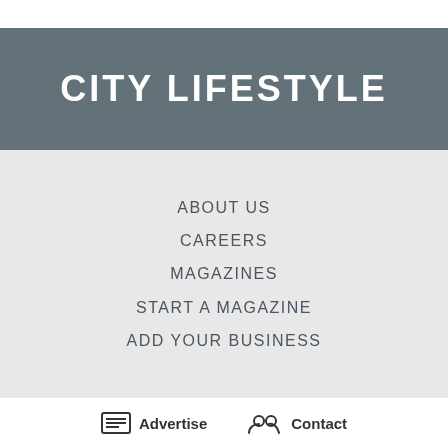CITY LIFESTYLE
ABOUT US
CAREERS
MAGAZINES
START A MAGAZINE
ADD YOUR BUSINESS
Advertise   Contact